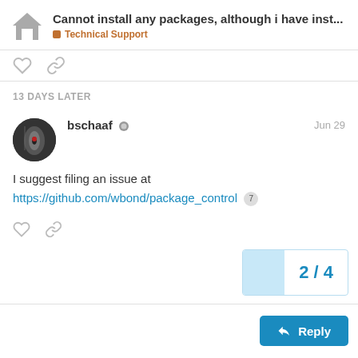Cannot install any packages, although i have inst... | Technical Support
13 DAYS LATER
bschaaf  Jun 29
I suggest filing an issue at https://github.com/wbond/package_control
2 / 4